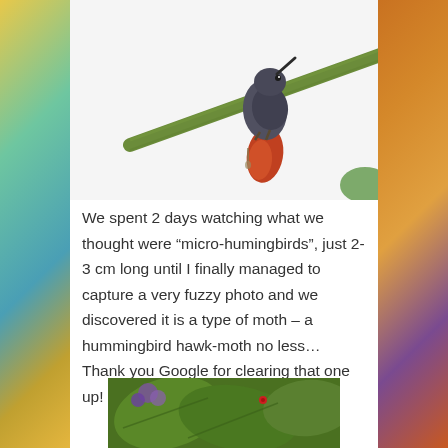[Figure (photo): A hummingbird perched on a diagonal green branch/vine against a white background, with reddish-orange tail feathers visible below]
We spent 2 days watching what we thought were “micro-humingbirds”, just 2-3 cm long until I finally managed to capture a very fuzzy photo and we discovered it is a type of moth – a hummingbird hawk-moth no less… Thank you Google for clearing that one up! 😊
[Figure (photo): Close-up photo of green leaves with purple flowers visible in the background and what appears to be a small insect]